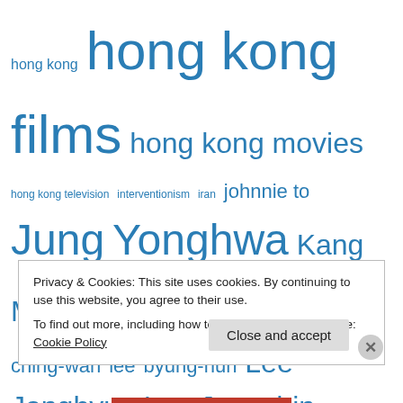[Figure (infographic): Tag cloud of topics including hong kong, hong kong films, hong kong movies, hong kong television, interventionism, iran, johnnie to, Jung Yonghwa, Kang Minhyuk, korean drama, Kpop, lau ching-wan, lee byung-hun, Lee Jonghyun, Lee Jungshin, louis koo, maggie cheung, movies, music, nicholas tse, nick cheung ka-fei, nicolas tse, pang ho-cheung, photography, police brutality, politics, ringo lam, sammi cheng, san francisco international asian american film festival, san francisco international film festival, san francisco silent film festival, sex scandal, shah rukh khan, shawn yue, silent films, simon yam tat-wah, stephen chow sing-chi, tad]
Privacy & Cookies: This site uses cookies. By continuing to use this website, you agree to their use.
To find out more, including how to control cookies, see here: Cookie Policy
Close and accept